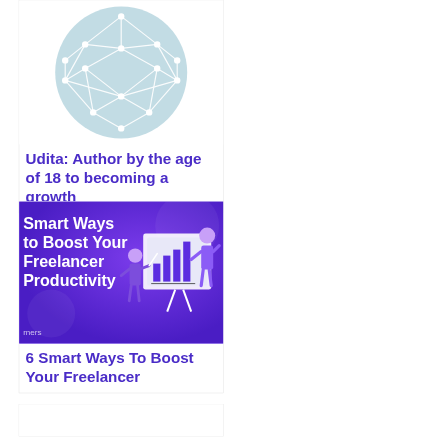[Figure (illustration): Light teal circle with white wireframe polyhedron/globe network diagram on white background]
Udita: Author by the age of 18 to becoming a growth
[Figure (illustration): Purple banner with white bold text reading 'Smart Ways to Boost Your Freelancer Productivity' and illustration of person working at a large presentation board with charts]
6 Smart Ways To Boost Your Freelancer
[Figure (illustration): White/blank card partially visible at bottom of page]